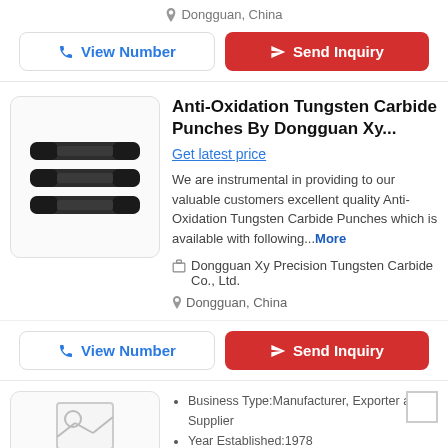Dongguan, China
View Number
Send Inquiry
Anti-Oxidation Tungsten Carbide Punches By Dongguan Xy...
Get latest price
We are instrumental in providing to our valuable customers excellent quality Anti-Oxidation Tungsten Carbide Punches which is available with following...More
Dongguan Xy Precision Tungsten Carbide Co., Ltd.
Dongguan, China
View Number
Send Inquiry
Business Type: Manufacturer, Exporter and Supplier
Year Established: 1978
Deals in: Bar Drawing Dies Tube Drawing